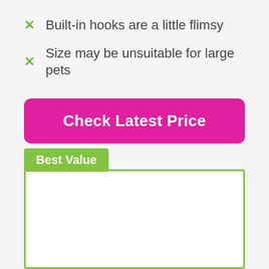✗ Built-in hooks are a little flimsy
✗ Size may be unsuitable for large pets
Check Latest Price
Best Value